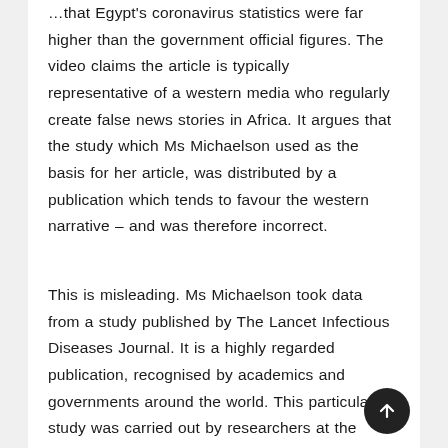…that Egypt's coronavirus statistics were far higher than the government official figures. The video claims the article is typically representative of a western media who regularly create false news stories in Africa. It argues that the study which Ms Michaelson used as the basis for her article, was distributed by a publication which tends to favour the western narrative – and was therefore incorrect.
This is misleading. Ms Michaelson took data from a study published by The Lancet Infectious Diseases Journal. It is a highly regarded publication, recognised by academics and governments around the world. This particular study was carried out by researchers at the University of Toronto. The study had analysed